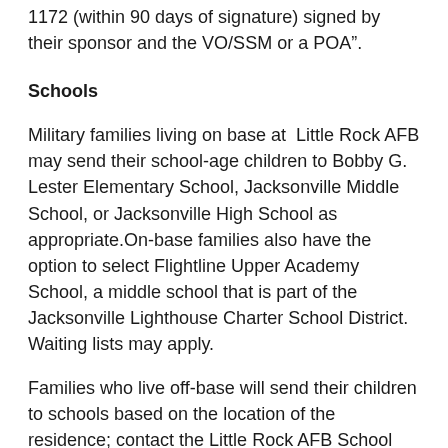1172 (within 90 days of signature) signed by their sponsor and the VO/SSM or a POA".
Schools
Military families living on base at  Little Rock AFB may send their school-age children to Bobby G. Lester Elementary School, Jacksonville Middle School, or Jacksonville High School as appropriate.On-base families also have the option to select Flightline Upper Academy School, a middle school that is part of the Jacksonville Lighthouse Charter School District. Waiting lists may apply.
Families who live off-base will send their children to schools based on the location of the residence; contact the Little Rock AFB School Liaison Office at 501-987-1941.